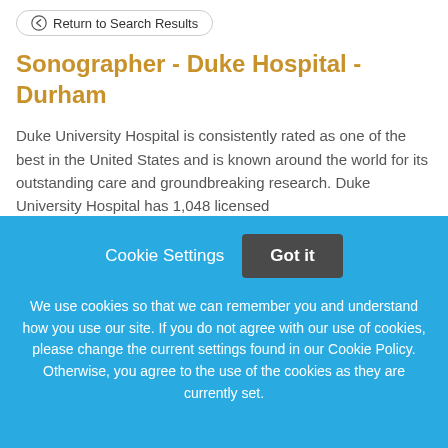← Return to Search Results
Sonographer - Duke Hospital - Durham
Duke University Hospital is consistently rated as one of the best in the United States and is known around the world for its outstanding care and groundbreaking research. Duke University Hospital has 1,048 licensed
This job listing is no longer active.
Cookie Settings   Got it
We use cookies so that we can remember you and understand how you use our site. If you do not agree with our use of cookies, please change the current settings found in our Cookie Policy. Otherwise, you agree to the use of the cookies as they are currently set.